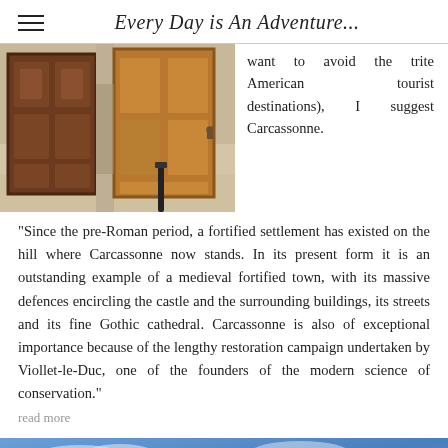Every Day is An Adventure...
[Figure (photo): Photograph of two old wooden doors set in a weathered stone facade in Carcassonne, France]
want to avoid the trite American tourist destinations), I suggest Carcassonne.
"Since the pre-Roman period, a fortified settlement has existed on the hill where Carcassonne now stands. In its present form it is an outstanding example of a medieval fortified town, with its massive defences encircling the castle and the surrounding buildings, its streets and its fine Gothic cathedral. Carcassonne is also of exceptional importance because of the lengthy restoration campaign undertaken by Viollet-le-Duc, one of the founders of the modern science of conservation."
read more
[Figure (photo): Photograph of the sky with castle battlements visible at the lower right, blue sky with clouds]